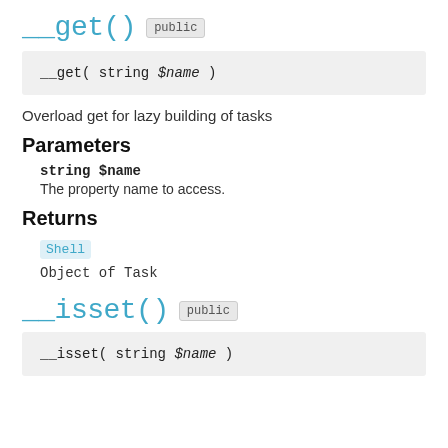__get()  public
__get( string $name )
Overload get for lazy building of tasks
Parameters
string $name
The property name to access.
Returns
Shell
Object of Task
__isset()  public
__isset( string $name )